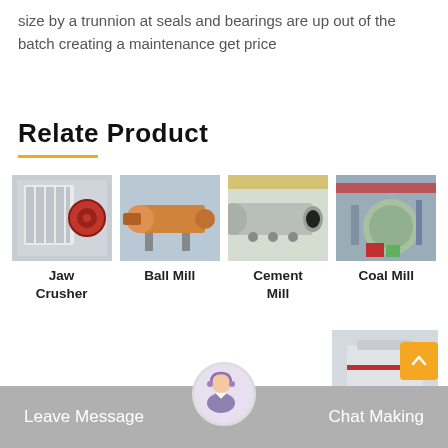size by a trunnion at seals and bearings are up out of the batch creating a maintenance get price
Relate Product
[Figure (photo): Jaw Crusher industrial machine photo]
Jaw Crusher
[Figure (photo): Ball Mill industrial machine photo]
Ball Mill
[Figure (photo): Cement Mill industrial machine photo]
Cement Mill
[Figure (photo): Coal Mill industrial machine photo]
Coal Mill
[Figure (photo): Sand Making Machine industrial machine photo]
Sand Making Machine
Leave Message   Chat Making